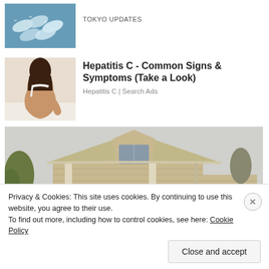[Figure (photo): Small thumbnail of pills/medication in blue tones]
TOKYO UPDATES
[Figure (photo): Woman holding her lower back, suggesting pain]
Hepatitis C - Common Signs & Symptoms (Take a Look)
Hepatitis C | Search Ads
[Figure (photo): Exterior of a beige/tan house with siding, trees in background]
Privacy & Cookies: This site uses cookies. By continuing to use this website, you agree to their use.
To find out more, including how to control cookies, see here: Cookie Policy
Close and accept